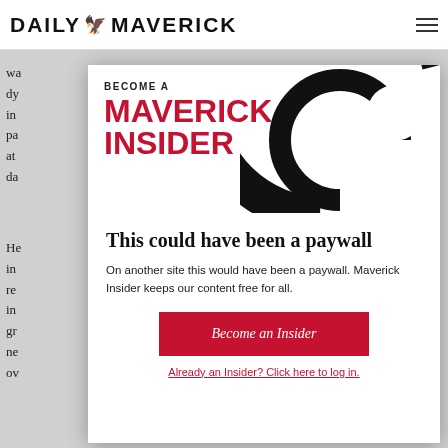DAILY MAVERICK
[Figure (infographic): Maverick Insider banner with 'BECOME A MAVERICK INSIDER' text in red and black spiral logo graphic]
This could have been a paywall
On another site this would have been a paywall. Maverick Insider keeps our content free for all.
Become an Insider
Already an Insider? Click here to log in.